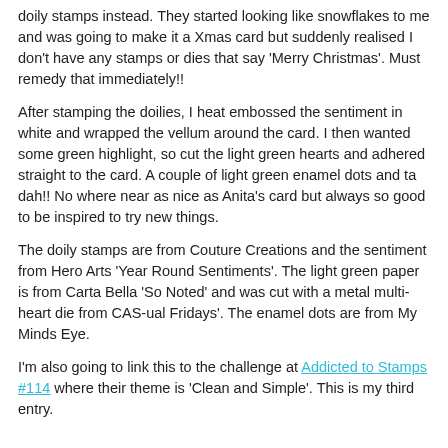doily stamps instead. They started looking like snowflakes to me and was going to make it a Xmas card but suddenly realised I don't have any stamps or dies that say 'Merry Christmas'. Must remedy that immediately!!
After stamping the doilies, I heat embossed the sentiment in white and wrapped the vellum around the card. I then wanted some green highlight, so cut the light green hearts and adhered straight to the card. A couple of light green enamel dots and ta dah!! No where near as nice as Anita's card but always so good to be inspired to try new things.
The doily stamps are from Couture Creations and the sentiment from Hero Arts 'Year Round Sentiments'. The light green paper is from Carta Bella 'So Noted' and was cut with a metal multi-heart die from CAS-ual Fridays'. The enamel dots are from My Minds Eye.
I'm also going to link this to the challenge at Addicted to Stamps #114 where their theme is 'Clean and Simple'. This is my third entry.